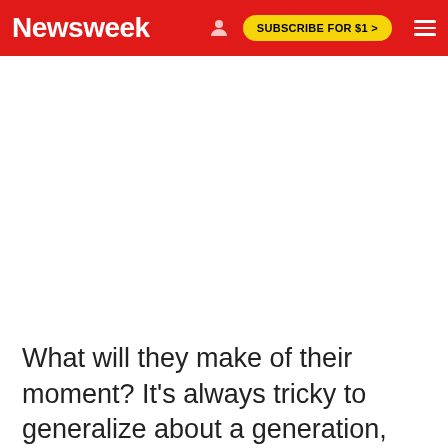Newsweek
[Figure (other): White blank advertisement space below the Newsweek header navigation bar]
What will they make of their moment? It's always tricky to generalize about a generation, but before September 11, American college